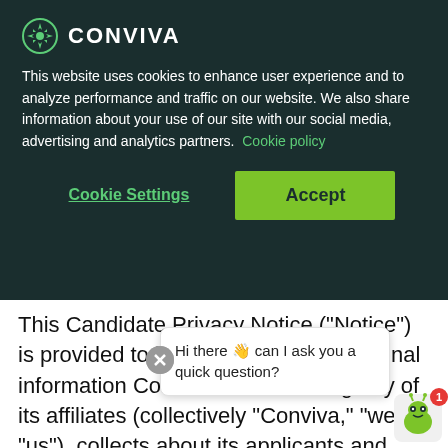[Figure (screenshot): Conviva logo with green leaf/snowflake icon and white CONVIVA text on dark teal background]
This website uses cookies to enhance user experience and to analyze performance and traffic on our website. We also share information about your use of our site with our social media, advertising and analytics partners.  Cookie policy
Cookie Settings
Accept
This Candidate Privacy Notice (“Notice”) is provided to let you know what personal information Conviva Inc., including any of its affiliates (collectively “Conviva,” “we” or “us”), collects about its applicants and how it handles such information during the application process. This Notice is provided to...
Hi there 👋 can I ask you a quick question?